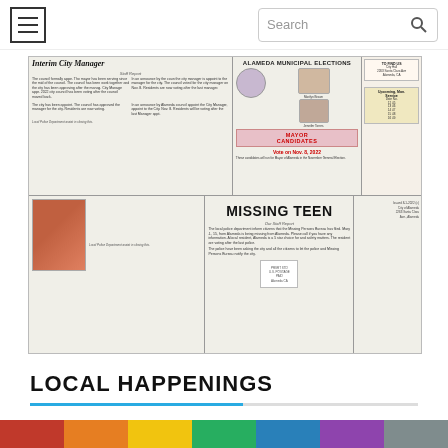[Figure (screenshot): Navigation bar with hamburger menu icon on left and search box with magnifying glass icon on right]
[Figure (photo): Newspaper page screenshot showing 'Interim City Manager' article headline, 'Alameda Municipal Elections' section with Mayor Candidates and Vote on Nov. 8, 2022, and 'MISSING TEEN' article with photo of a teen girl]
LOCAL HAPPENINGS
[Figure (photo): Colorful horizontal rainbow-colored bar at the bottom of the page]